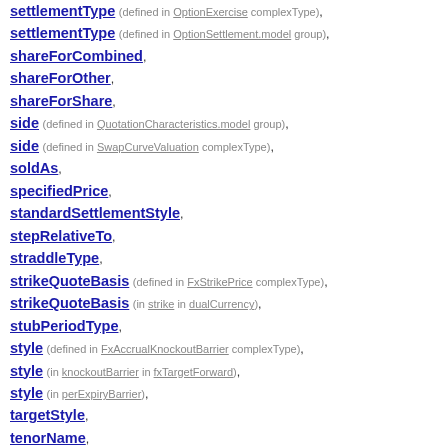settlementType (defined in OptionExercise complexType),
settlementType (defined in OptionSettlement.model group),
shareForCombined,
shareForOther,
shareForShare,
side (defined in QuotationCharacteristics.model group),
side (defined in SwapCurveValuation complexType),
soldAs,
specifiedPrice,
standardSettlementStyle,
stepRelativeTo,
straddleType,
strikeQuoteBasis (defined in FxStrikePrice complexType),
strikeQuoteBasis (in strike in dualCurrency),
stubPeriodType,
style (defined in FxAccrualKnockoutBarrier complexType),
style (in knockoutBarrier in fxTargetForward),
style (in perExpiryBarrier),
targetStyle,
tenorName,
time (in featurePayment),
title,
touchCondition,
tranche (in mortgage),
triggerCondition,